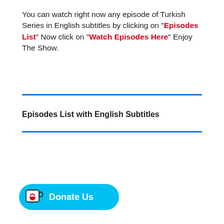You can watch right now any episode of Turkish Series in English subtitles by clicking on "Episodes List" Now click on "Watch Episodes Here" Enjoy The Show.
Episodes List with English Subtitles
[Figure (other): Cyan rounded button with a Ko-fi cup icon and text 'Donate Us']